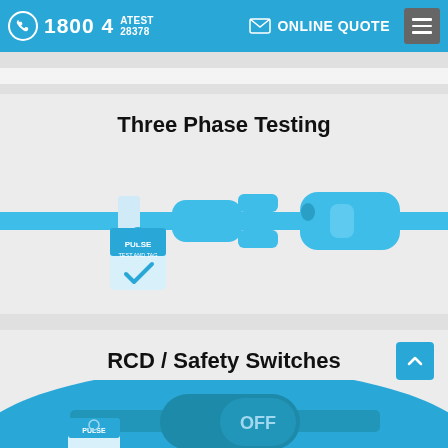1800 4 ATEST 28378  ONLINE QUOTE
Three Phase Testing
[Figure (illustration): Three-phase electrical plug and socket illustration in blue, with a Pulse Test and Tag label attached to the cord. The plug and socket are shown separated on a horizontal blue cable/line.]
RCD / Safety Switches
[Figure (illustration): RCD safety switch illustration showing a rocker switch in OFF position, partially visible at the bottom of the page, in blue tones with a Pulse logo label.]